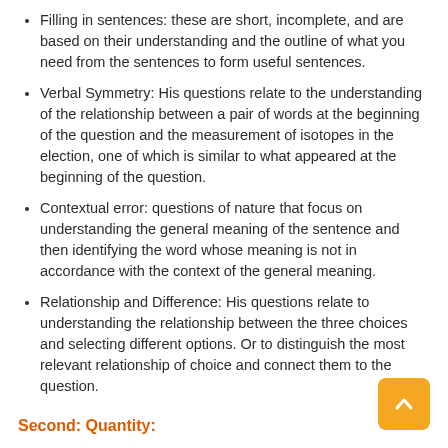Filling in sentences: these are short, incomplete, and are based on their understanding and the outline of what you need from the sentences to form useful sentences.
Verbal Symmetry: His questions relate to the understanding of the relationship between a pair of words at the beginning of the question and the measurement of isotopes in the election, one of which is similar to what appeared at the beginning of the question.
Contextual error: questions of nature that focus on understanding the general meaning of the sentence and then identifying the word whose meaning is not in accordance with the context of the general meaning.
Relationship and Difference: His questions relate to understanding the relationship between the three choices and selecting different options. Or to distinguish the most relevant relationship of choice and connect them to the question.
Second: Quantity:
Includes types of math questions matched to the aptitude test (according to general secondary (scientific or literary) specialization